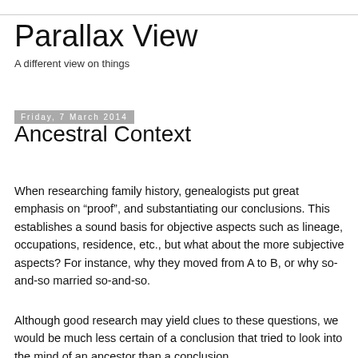Parallax View
A different view on things
Friday, 7 March 2014
Ancestral Context
When researching family history, genealogists put great emphasis on “proof”, and substantiating our conclusions. This establishes a sound basis for objective aspects such as lineage, occupations, residence, etc., but what about the more subjective aspects? For instance, why they moved from A to B, or why so-and-so married so-and-so.
Although good research may yield clues to these questions, we would be much less certain of a conclusion that tried to look into the mind of an ancestor than a conclusion